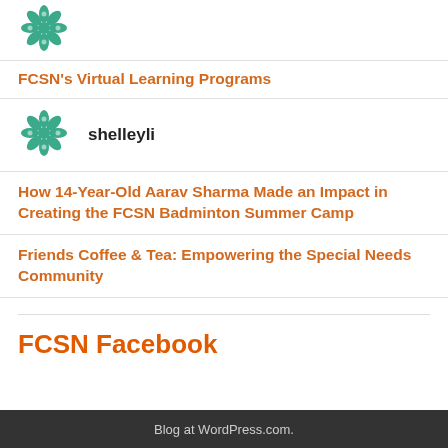[Figure (logo): FCSN green snowflake/mandala logo icon (partial, top of page)]
FCSN's Virtual Learning Programs
[Figure (logo): FCSN green snowflake/mandala logo icon]
shelleyli
How 14-Year-Old Aarav Sharma Made an Impact in Creating the FCSN Badminton Summer Camp
Friends Coffee & Tea: Empowering the Special Needs Community
FCSN Facebook
Blog at WordPress.com.